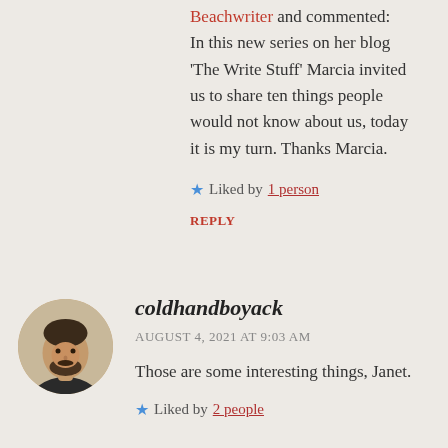Beachwriter and commented: In this new series on her blog 'The Write Stuff' Marcia invited us to share ten things people would not know about us, today it is my turn. Thanks Marcia.
★ Liked by 1 person
REPLY
[Figure (photo): Circular avatar photo of coldhandboyack, showing a man with a beard]
coldhandboyack
AUGUST 4, 2021 AT 9:03 AM
Those are some interesting things, Janet.
★ Liked by 2 people